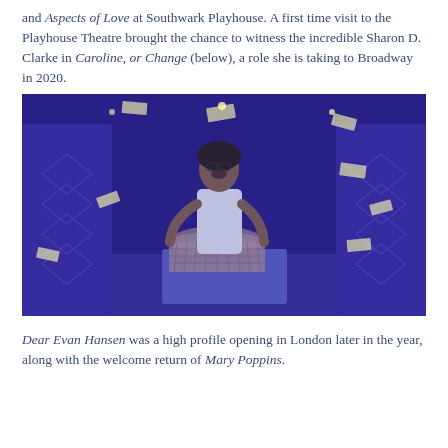and Aspects of Love at Southwark Playhouse. A first time visit to the Playhouse Theatre brought the chance to witness the incredible Sharon D. Clarke in Caroline, or Change (below), a role she is taking to Broadway in 2020.
[Figure (photo): Stage performance photo of a woman in white dress holding a laundry basket on stage, surrounded by flying papers/money, lit in blue/purple lighting.]
Dear Evan Hansen was a high profile opening in London later in the year, along with the welcome return of Mary Poppins.